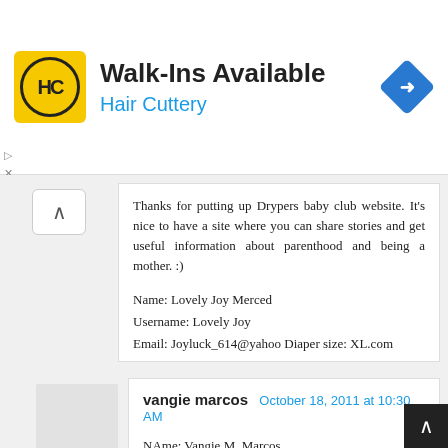[Figure (other): Hair Cuttery advertisement banner with logo and 'Walk-Ins Available' text and navigation icon]
Thanks for putting up Drypers baby club website. It's nice to have a site where you can share stories and get useful information about parenthood and being a mother. :)
Name: Lovely Joy Merced
Username: Lovely Joy
Email: Joyluck_614@yahoo Diaper size: XL.com
Reply
vangie marcos October 18, 2011 at 10:30 AM
NAme: Vangie M. Marcos
Email Address: vangz_1129@yahoo.com
Username: vangie marcos
Diaper Size: Large
It is exciting that there is like Drypers Club Website wherein you can share your ideas and experiences with other moms about our growing child In this regard, we will feel that we are